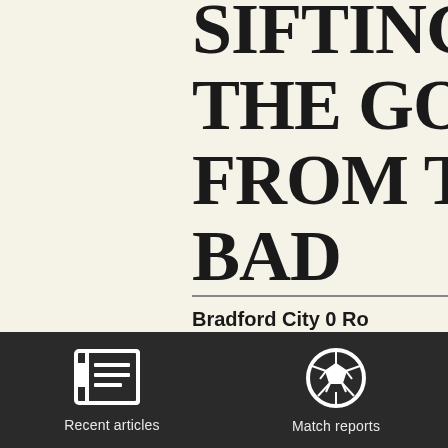SIFTING THE GOOD FROM THE BAD
Bradford City 0 Ro... At Valley Parade i... League Two, 2009
Recent articles
Match reports